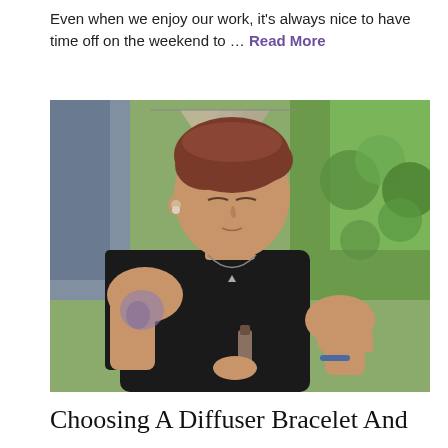Even when we enjoy our work, it's always nice to have time off on the weekend to … Read More
[Figure (photo): A young woman with short brown hair wearing a black sleeveless top, applying essential oil from a small bottle to her wrist/hand, with tattoo visible on her upper arm. Green foliage in the background.]
Choosing A Diffuser Bracelet And